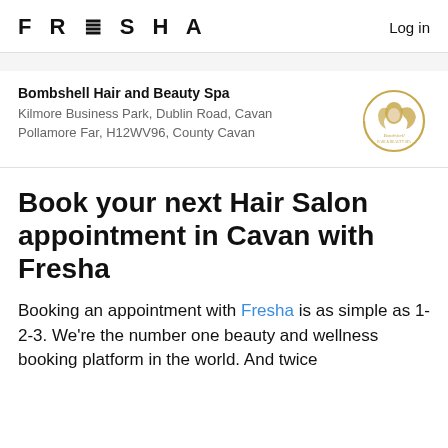FRESHA  Log in
Bombshell Hair and Beauty Spa
Kilmore Business Park, Dublin Road, Cavan
Pollamore Far, H12WV96, County Cavan
[Figure (logo): Bombshell Hair and Beauty Spa circular gold logo with woman silhouette]
Book your next Hair Salon appointment in Cavan with Fresha
Booking an appointment with Fresha is as simple as 1-2-3. We're the number one beauty and wellness booking platform in the world. And twice